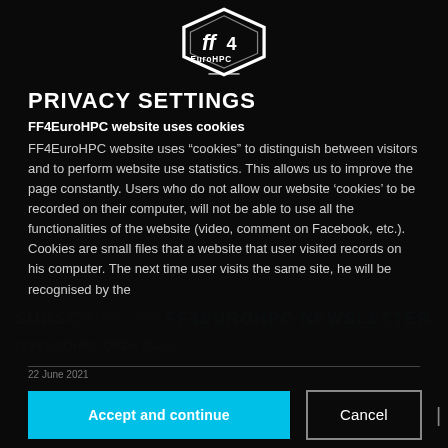[Figure (logo): FF4EuroHPC logo — white hexagonal badge shape with stylized text inside on dark background]
PRIVACY SETTINGS
FF4EuroHPC website uses cookies
FF4EuroHPC website uses “cookies” to distinguish between visitors and to perform website use statistics. This allows us to improve the page constantly. Users who do not allow our website 'cookies' to be recorded on their computer, will not be able to use all the functionalities of the website (video, comment on Facebook, etc.). Cookies are small files that a website that user visited records on his computer. The next time user visits the same site, he will be recognised by the
22 June 2021
Accept and continue
Cancel